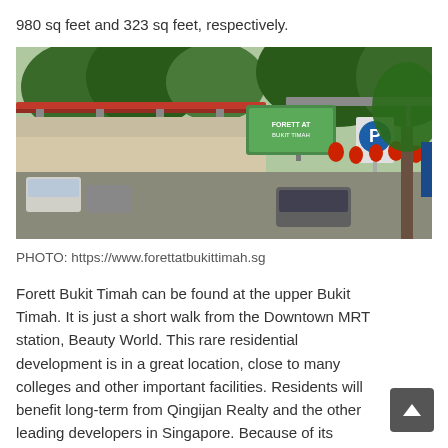980 sq feet and 323 sq feet, respectively.
[Figure (photo): Street-level photo of Forett Bukit Timah development area showing trees, covered walkway structures, parking sign, and vehicles.]
PHOTO: https://www.forettatbukittimah.sg
Forett Bukit Timah can be found at the upper Bukit Timah. It is just a short walk from the Downtown MRT station, Beauty World. This rare residential development is in a great location, close to many colleges and other important facilities. Residents will benefit long-term from Qingijan Realty and the other leading developers in Singapore. Because of its strategic location, the amenities are easily accessible and close to the